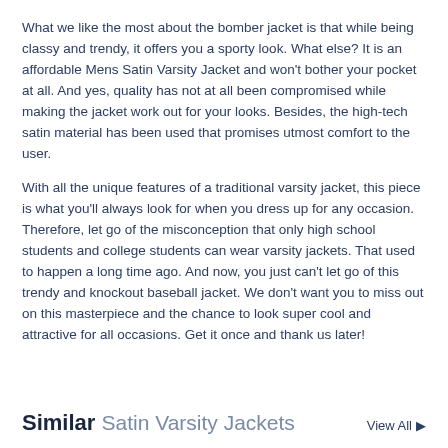What we like the most about the bomber jacket is that while being classy and trendy, it offers you a sporty look. What else? It is an affordable Mens Satin Varsity Jacket and won't bother your pocket at all. And yes, quality has not at all been compromised while making the jacket work out for your looks. Besides, the high-tech satin material has been used that promises utmost comfort to the user.
With all the unique features of a traditional varsity jacket, this piece is what you'll always look for when you dress up for any occasion. Therefore, let go of the misconception that only high school students and college students can wear varsity jackets. That used to happen a long time ago. And now, you just can't let go of this trendy and knockout baseball jacket. We don't want you to miss out on this masterpiece and the chance to look super cool and attractive for all occasions. Get it once and thank us later!
Similar Satin Varsity Jackets